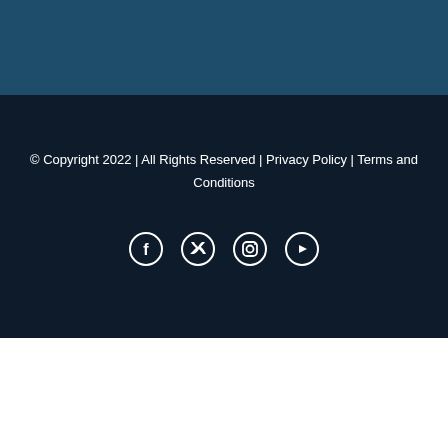© Copyright 2022 | All Rights Reserved | Privacy Policy | Terms and Conditions
[Figure (illustration): Social media icons: Facebook, Twitter, Instagram, YouTube — white circular bordered icons on dark background]